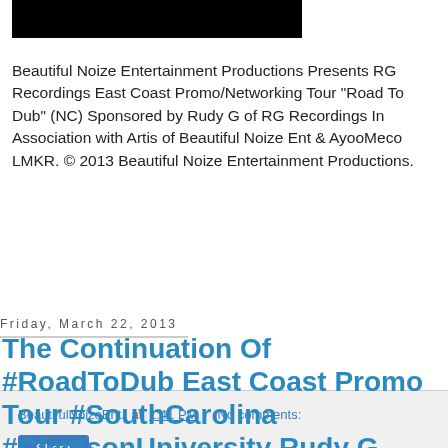[Figure (photo): Black rectangular image at top of page]
Beautiful Noize Entertainment Productions Presents RG Recordings East Coast Promo/Networking Tour "Road To Dub" (NC) Sponsored by Rudy G of RG Recordings In Association with Artis of Beautiful Noize Ent & AyooMeco LMKR. © 2013 Beautiful Noize Entertainment Productions.
BeautifulNoizeEnt. at 1:41 PM   No comments:
Share
Friday, March 22, 2013
The Continuation Of #RoadToDub East Coast Promo Tour #SouthCarolina #ClemsonUniversity Rudy G (@RGRecordings) | (@AyooMeco) & Artis (@Jqjbeezy) Crash Course